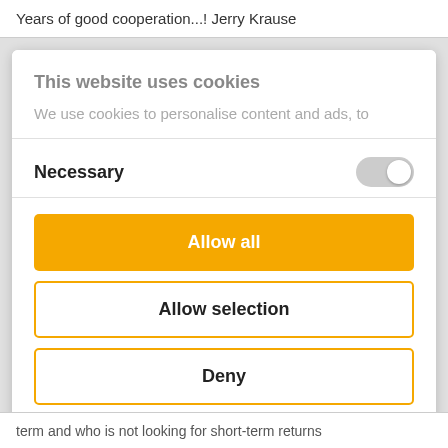Years of good cooperation...! Jerry Krause
This website uses cookies
We use cookies to personalise content and ads, to
Necessary
Allow all
Allow selection
Deny
term and who is not looking for short-term returns